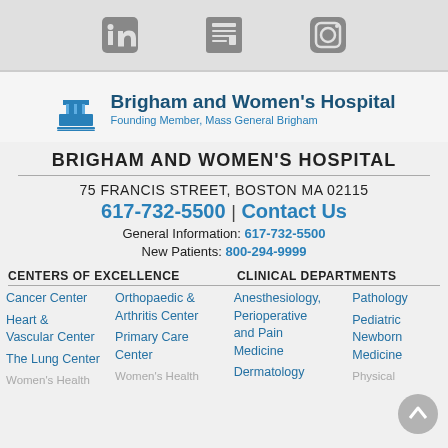[Figure (other): Social media icons: LinkedIn, News/RSS, Instagram in a gray top bar]
[Figure (logo): Brigham and Women's Hospital logo with building icon, name in dark blue, tagline 'Founding Member, Mass General Brigham' in light blue]
BRIGHAM AND WOMEN'S HOSPITAL
75 FRANCIS STREET, BOSTON MA 02115
617-732-5500 | Contact Us
General Information: 617-732-5500
New Patients: 800-294-9999
CENTERS OF EXCELLENCE
CLINICAL DEPARTMENTS
Cancer Center
Heart & Vascular Center
The Lung Center
Orthopaedic & Arthritis Center
Primary Care Center
Women's Health
Anesthesiology, Perioperative and Pain Medicine
Dermatology
Pathology
Pediatric Newborn Medicine
Physical